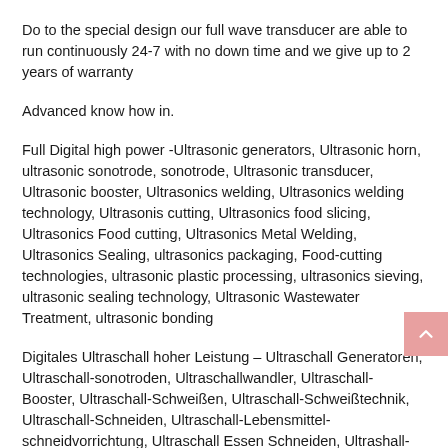Do to the special design our full wave transducer are able to run continuously 24-7 with no down time and we give up to 2 years of warranty
Advanced know how in.
Full Digital high power -Ultrasonic generators, Ultrasonic horn, ultrasonic sonotrode, sonotrode, Ultrasonic transducer, Ultrasonic booster, Ultrasonics welding, Ultrasonics welding technology, Ultrasonis cutting, Ultrasonics food slicing, Ultrasonics Food cutting, Ultrasonics Metal Welding, Ultrasonics Sealing, ultrasonics packaging, Food-cutting technologies, ultrasonic plastic processing, ultrasonics sieving, ultrasonic sealing technology, Ultrasonic Wastewater Treatment, ultrasonic bonding
Digitales Ultraschall hoher Leistung – Ultraschall Generatoren, Ultraschall-sonotroden, Ultraschallwandler, Ultraschall-Booster, Ultraschall-Schweißen, Ultraschall-Schweißtechnik, Ultraschall-Schneiden, Ultraschall-Lebensmittel-schneidvorrichtung, Ultraschall Essen Schneiden, Ultrashall-schweissverbindungen, Ultraschall-schwinger, Ultraschall-konverter, UltraschallSchneiden, ultraschall-schweissgeräte, ultraschall-schweissgerät, ultraschall-verpackung